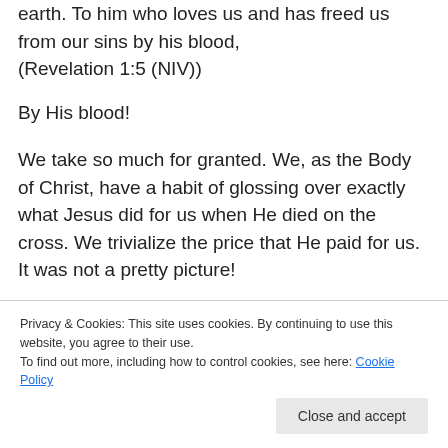earth. To him who loves us and has freed us from our sins by his blood,
(Revelation 1:5 (NIV))
By His blood!
We take so much for granted. We, as the Body of Christ, have a habit of glossing over exactly what Jesus did for us when He died on the cross. We trivialize the price that He paid for us. It was not a pretty picture!
Have we become so accustom to the story of the crucifixion and resurrection that we take it for granted? Do
Privacy & Cookies: This site uses cookies. By continuing to use this website, you agree to their use.
To find out more, including how to control cookies, see here: Cookie Policy
Close and accept